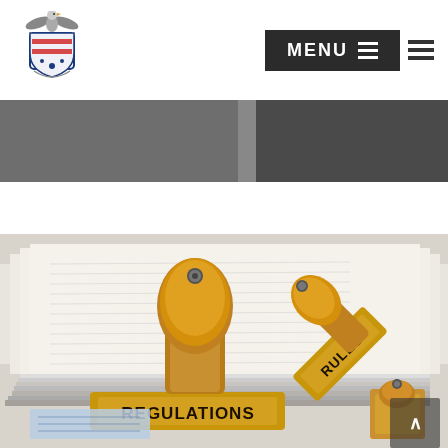Navigation header with logo and MENU button
[Figure (photo): Dark banner strip across the top, split into left grey and right darker grey sections with a lighter divider]
[Figure (photo): Photograph of wooden rubber stamps labeled REGULATIONS and RULES lying on a stack of documents/papers]